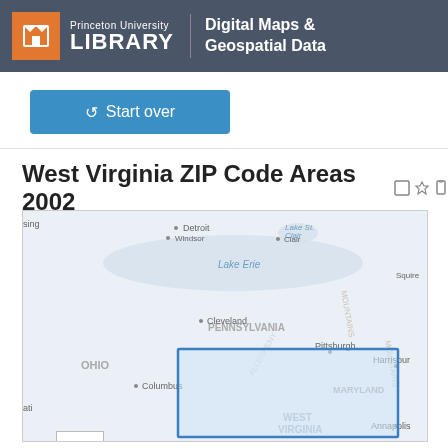Princeton University LIBRARY | Digital Maps & Geospatial Data
↺ Start over
West Virginia ZIP Code Areas 2002
[Figure (map): Interactive web map showing the northeastern United States including Ohio, Pennsylvania, West Virginia, and Maryland. A blue rectangle highlights the West Virginia region. Visible cities include Detroit, Windsor, Cleveland, Columbus, Pittsburgh, Harrisburg, and Annapolis. Lake Erie and Lake St. Clair are visible. Map has zoom controls (+ and -) in the upper left corner.]